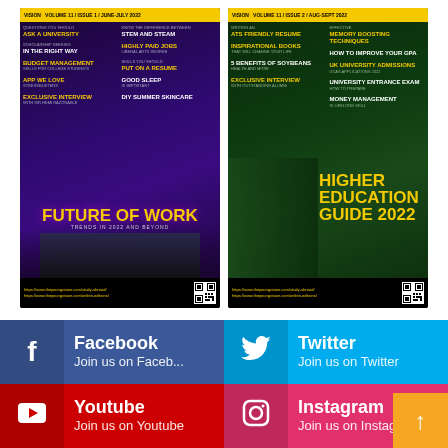[Figure (photo): Magazine cover - The Young Vision, purple/dark theme, 'FUTURE OF WORK: TRENDS IN 2022 AND BEYOND', showing group of professionals, with various article headlines about STEM, jobs, budget management, scholarship, etc.]
[Figure (photo): Magazine cover - The Young Vision, green/dark theme, 'HIGHER EDUCATION GUIDE 2022', showing graduating student in cap and gown, with various article headlines about ATS resume, university admissions, memory techniques, GPA improvement, etc.]
Facebook
Join us on Faceb...
Twitter
Join us on Twitter
Youtube
Instagram